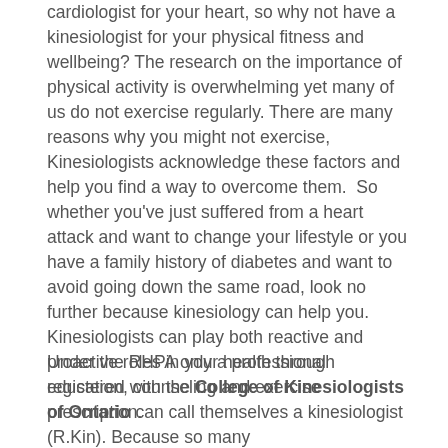cardiologist for your heart, so why not have a kinesiologist for your physical fitness and wellbeing? The research on the importance of physical activity is overwhelming yet many of us do not exercise regularly. There are many reasons why you might not exercise, Kinesiologists acknowledge these factors and help you find a way to overcome them.  So whether you've just suffered from a heart attack and want to change your lifestyle or you have a family history of diabetes and want to avoid going down the same road, look no further because kinesiology can help you. Kinesiologists can play both reactive and proactive roles in your health through education, counseling and exercise prescription.
Under the RHPA only a professional registered with the College of Kinesiologists of Ontario can call themselves a kinesiologist (R.Kin). Because so many